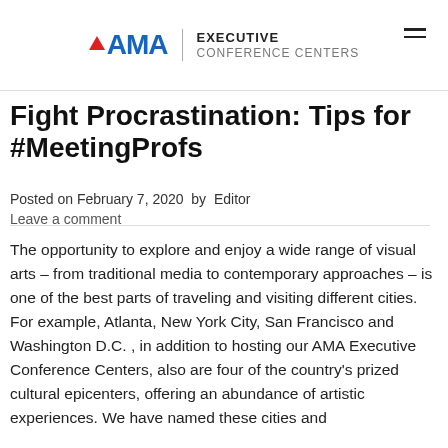AMA EXECUTIVE CONFERENCE CENTERS
Fight Procrastination: Tips for #MeetingProfs
Posted on February 7, 2020 by Editor
Leave a comment
The opportunity to explore and enjoy a wide range of visual arts – from traditional media to contemporary approaches – is one of the best parts of traveling and visiting different cities. For example, Atlanta, New York City, San Francisco and Washington D.C. , in addition to hosting our AMA Executive Conference Centers, also are four of the country's prized cultural epicenters, offering an abundance of artistic experiences. We have named these cities and